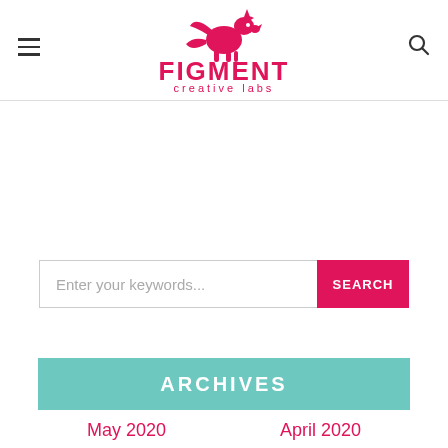[Figure (logo): Figment Creative Labs logo — pink dragon/unicorn creature above the text FIGMENT creative labs in pink]
Enter your keywords...
ARCHIVES
May 2020
April 2020